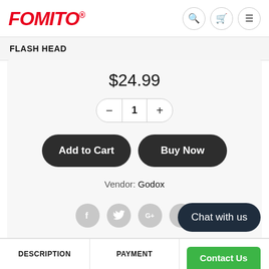FOMITO
FLASH HEAD
$24.99
1
Add to Cart
Buy Now
Vendor: Godox
[Figure (other): Social sharing icons: Facebook, Twitter, Google+, Pinterest]
Chat with us
Contact Us
DESCRIPTION
PAYMENT
SHIPPING